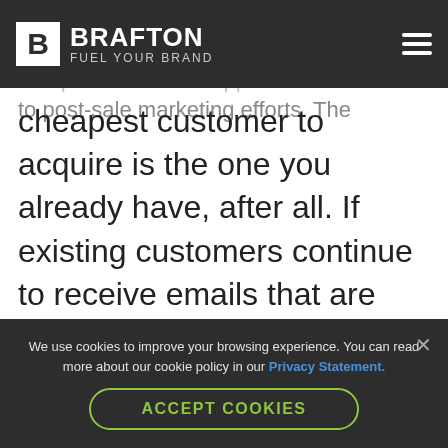[Figure (logo): Brafton logo with white B in box and 'BRAFTON FUEL YOUR BRAND' text on dark navigation bar with hamburger menu]
More importantly though, many of the same behaviors that precede a sale apply to post-sale marketing efforts. The cheapest customer to acquire is the one you already have, after all. If existing customers continue to receive emails that are relevant to them, they might take further action.

For instance, if you sold X customer Y item,
We use cookies to improve your browsing experience. You can read more about our cookie policy in our Privacy Statement. ACCEPT COOKIES